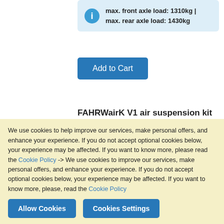max. front axle load: 1310kg | max. rear axle load: 1430kg
Add to Cart
FAHRWairK V1 air suspension kit 53mm
€3,219.00
[Figure (photo): Product photo of air suspension kit]
We use cookies to help improve our services, make personal offers, and enhance your experience. If you do not accept optional cookies below, your experience may be affected. If you want to know more, please read the Cookie Policy -> We use cookies to improve our services, make personal offers, and enhance your experience. If you do not accept optional cookies below, your experience may be affected. If you want to know more, please, read the Cookie Policy
Allow Cookies
Cookies Settings